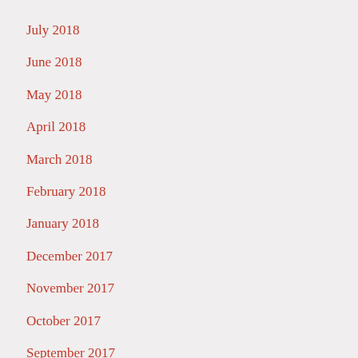July 2018
June 2018
May 2018
April 2018
March 2018
February 2018
January 2018
December 2017
November 2017
October 2017
September 2017
August 2017
July 2017
June 2017